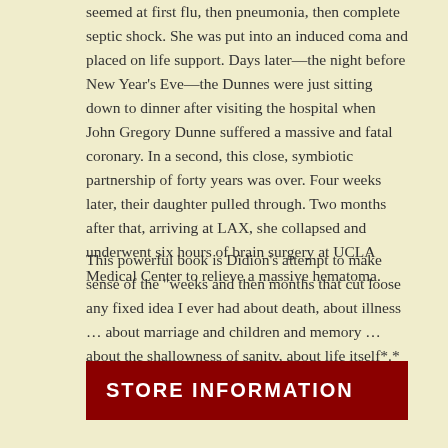seemed at first flu, then pneumonia, then complete septic shock. She was put into an induced coma and placed on life support. Days later—the night before New Year's Eve—the Dunnes were just sitting down to dinner after visiting the hospital when John Gregory Dunne suffered a massive and fatal coronary. In a second, this close, symbiotic partnership of forty years was over. Four weeks later, their daughter pulled through. Two months after that, arriving at LAX, she collapsed and underwent six hours of brain surgery at UCLA Medical Center to relieve a massive hematoma.
This powerful book is Didion's attempt to make sense of the "weeks and then months that cut loose any fixed idea I ever had about death, about illness … about marriage and children and memory … about the shallowness of sanity, about life itself*.*
STORE INFORMATION